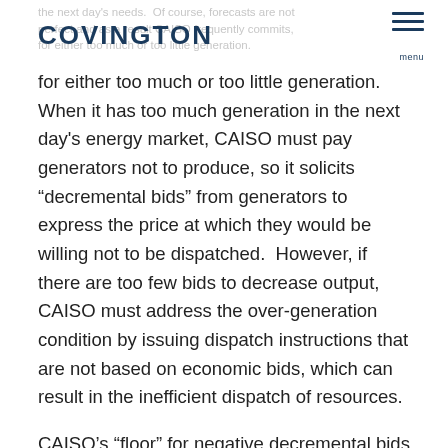the next day's needs.  Of course, forecasts are not perfect and as a result CAISO frequently commits for either too much or too little generation.
for either too much or too little generation.  When it has too much generation in the next day's energy market, CAISO must pay generators not to produce, so it solicits “decremntal bids” from generators to express the price at which they would be willing not to be dispatched.  However, if there are too few bids to decrease output, CAISO must address the over-generation condition by issuing dispatch instructions that are not based on economic bids, which can result in the inefficient dispatch of resources.
CAISO’s “floor” for negative decremental bids had been -$30/MWh.  However, at this level, variable energy resources, a growing part of the market, will